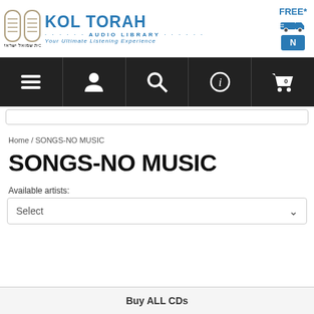[Figure (logo): Kol Torah Audio Library logo with Hebrew text, truck icon, and free shipping badge]
[Figure (screenshot): Navigation bar with hamburger menu, user icon, search icon, info icon, and cart icon]
Home / SONGS-NO MUSIC
SONGS-NO MUSIC
Available artists:
[Figure (screenshot): Select dropdown box]
Buy ALL CDs